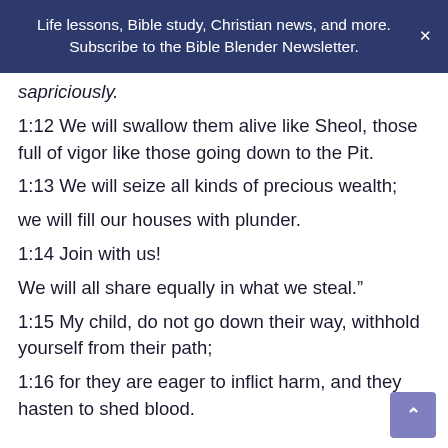Life lessons, Bible study, Christian news, and more. Subscribe to the Bible Blender Newsletter.
sapriciously.
1:12 We will swallow them alive like Sheol, those full of vigor like those going down to the Pit.
1:13 We will seize all kinds of precious wealth;
we will fill our houses with plunder.
1:14 Join with us!
We will all share equally in what we steal.”
1:15 My child, do not go down their way, withhold yourself from their path;
1:16 for they are eager to inflict harm, and they hasten to shed blood.